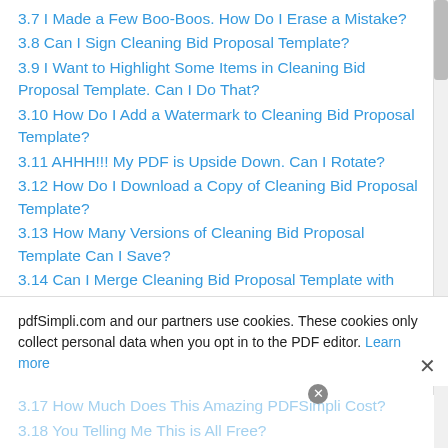3.7 I Made a Few Boo-Boos. How Do I Erase a Mistake?
3.8 Can I Sign Cleaning Bid Proposal Template?
3.9 I Want to Highlight Some Items in Cleaning Bid Proposal Template. Can I Do That?
3.10 How Do I Add a Watermark to Cleaning Bid Proposal Template?
3.11 AHHH!!! My PDF is Upside Down. Can I Rotate?
3.12 How Do I Download a Copy of Cleaning Bid Proposal Template?
3.13 How Many Versions of Cleaning Bid Proposal Template Can I Save?
3.14 Can I Merge Cleaning Bid Proposal Template with Another PDF?
3.15 I Want to Compress the Cleaning Bid Proposal Template – Can I Do That With PDFSimpli?
pdfSimpli.com and our partners use cookies. These cookies only collect personal data when you opt in to the PDF editor. Learn more
3.17 How Much Does This Amazing PDFSimpli Cost?
3.18 You Telling Me This is All Free?